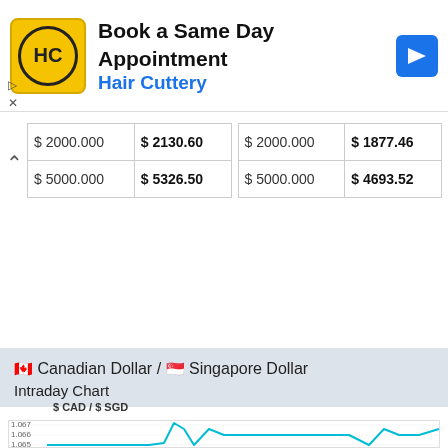[Figure (other): Hair Cuttery advertisement banner with yellow logo, 'Book a Same Day Appointment' text, and blue navigation arrow]
| $ 2000.000 | $ 2130.60 | $ 2000.000 | $ 1877.46 |
| $ 5000.000 | $ 5326.50 | $ 5000.000 | $ 4693.52 |
🇨🇦 Canadian Dollar / 🇸🇬 Singapore Dollar
Intraday Chart
[Figure (line-chart): Intraday line chart of Canadian Dollar to Singapore Dollar exchange rate, showing values around 1.065-1.067 with spikes]